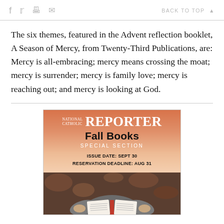BACK TO TOP
The six themes, featured in the Advent reflection booklet, A Season of Mercy, from Twenty-Third Publications, are: Mercy is all-embracing; mercy means crossing the moat; mercy is surrender; mercy is family love; mercy is reaching out; and mercy is looking at God.
[Figure (illustration): National Catholic Reporter Fall Books Special Section advertisement. Orange gradient background with NATIONAL CATHOLIC REPORTER masthead, 'Fall Books' in bold, 'SPECIAL SECTION' subtitle, 'ISSUE DATE: SEPT 30' and 'RESERVATION DEADLINE: AUG 31', with photo of person holding open book.]